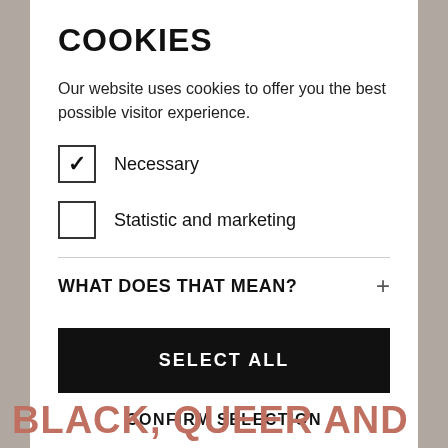COOKIES
Our website uses cookies to offer you the best possible visitor experience.
☑ Necessary
☐ Statistic and marketing
WHAT DOES THAT MEAN?
SELECT ALL
CONFIRM SELECTION
BLACK, QUEER AND